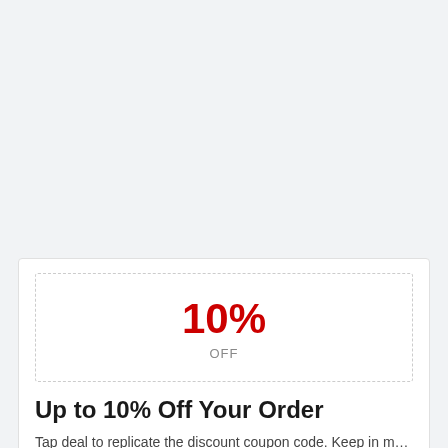[Figure (other): Coupon box with dashed border showing 10% OFF]
Up to 10% Off Your Order
Tap deal to replicate the discount coupon code. Keep in m…
> 67 times used